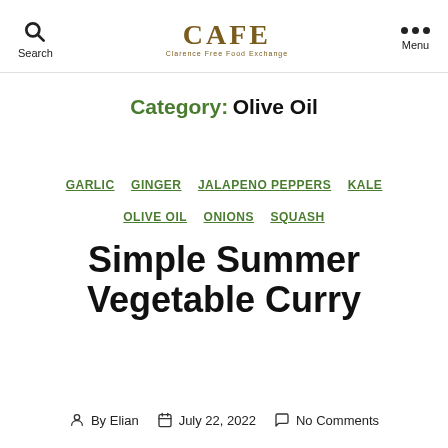Search | CAFE Clarence Free Food Exchange | Menu
Category: Olive Oil
GARLIC  GINGER  JALAPENO PEPPERS  KALE  OLIVE OIL  ONIONS  SQUASH
Simple Summer Vegetable Curry
By Elian  July 22, 2022  No Comments